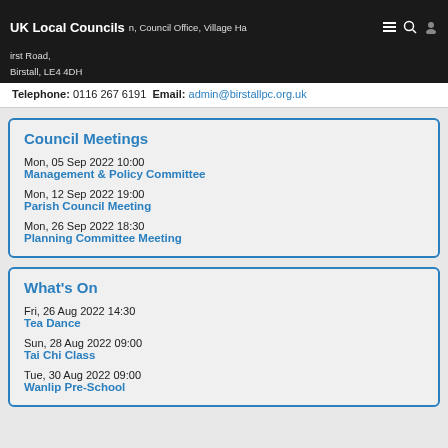UK Local Councils | Council Office, Village Hall, First Road, Birstall, LE4 4DH
Telephone: 0116 267 6191 Email: admin@birstallpc.org.uk
Council Meetings
Mon, 05 Sep 2022 10:00
Management & Policy Committee
Mon, 12 Sep 2022 19:00
Parish Council Meeting
Mon, 26 Sep 2022 18:30
Planning Committee Meeting
What's On
Fri, 26 Aug 2022 14:30
Tea Dance
Sun, 28 Aug 2022 09:00
Tai Chi Class
Tue, 30 Aug 2022 09:00
Wanlip Pre-School